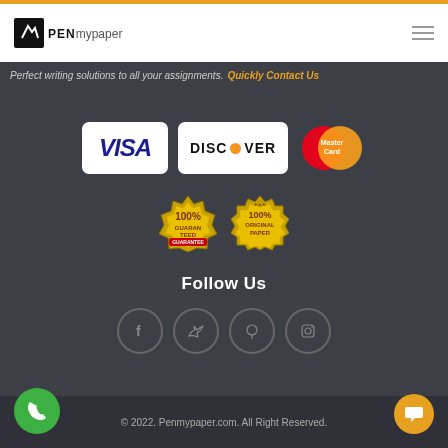[Figure (logo): PenMyPaper logo with navigation bar]
Perfect writing solutions to all your assignments. Quickly Contact Us
[Figure (infographic): Payment logos: VISA, DISCOVER, MasterCard]
[Figure (infographic): 100% Guarantee and 100% Original Paper badges]
Follow Us
[Figure (infographic): Social media icons: Facebook, Twitter, Pinterest, Instagram]
© 2022. Penmypaper.com. All Right Reserved.